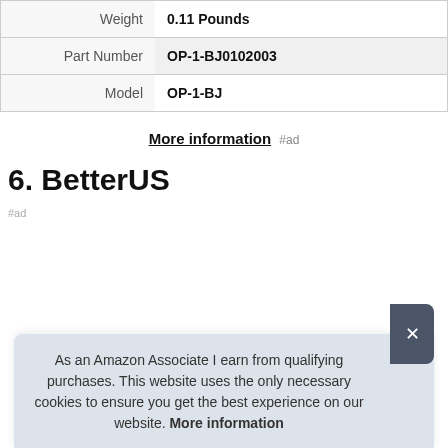| Weight | 0.11 Pounds |
| Part Number | OP-1-BJ0102003 |
| Model | OP-1-BJ |
More information #ad
6. BetterUS
#ad
As an Amazon Associate I earn from qualifying purchases. This website uses the only necessary cookies to ensure you get the best experience on our website. More information